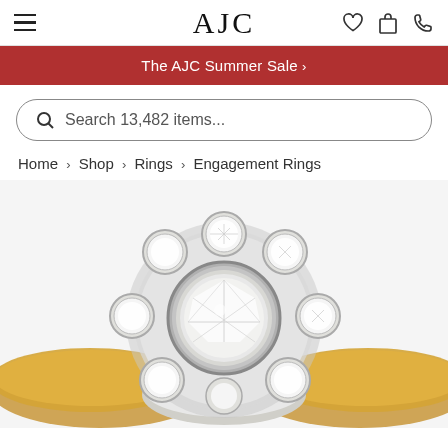AJC
The AJC Summer Sale >
Search 13,482 items...
Home > Shop > Rings > Engagement Rings
[Figure (photo): Close-up photograph of a diamond cluster engagement ring with a large central round brilliant diamond surrounded by smaller diamonds in a flower/daisy pattern, set in white gold/platinum on a yellow gold band]